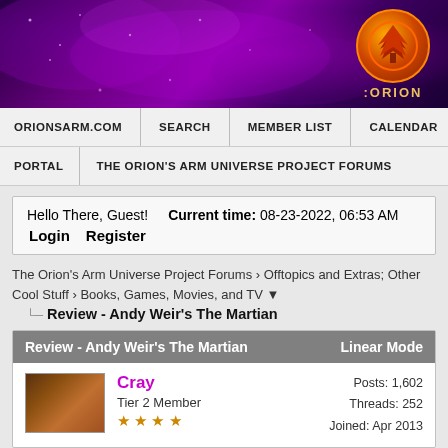[Figure (photo): Orion's Arm website banner with purple nebula background and orange logo with tree symbol on right side]
ORIONSARM.COM | SEARCH | MEMBER LIST | CALENDAR | HELP
PORTAL | THE ORION'S ARM UNIVERSE PROJECT FORUMS
Hello There, Guest! Current time: 08-23-2022, 06:53 AM Login Register
The Orion's Arm Universe Project Forums › Offtopics and Extras; Other Cool Stuff › Books, Games, Movies, and TV ▼
Review - Andy Weir's The Martian
| Review - Andy Weir's The Martian | Linear Mode |
| --- | --- |
| [Avatar: Cray] Cray Tier 2 Member ★★★★ | Posts: 1,602 Threads: 252 Joined: Apr 2013 |